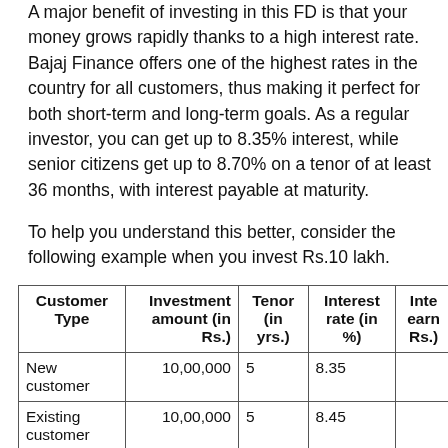A major benefit of investing in this FD is that your money grows rapidly thanks to a high interest rate. Bajaj Finance offers one of the highest rates in the country for all customers, thus making it perfect for both short-term and long-term goals. As a regular investor, you can get up to 8.35% interest, while senior citizens get up to 8.70% on a tenor of at least 36 months, with interest payable at maturity.
To help you understand this better, consider the following example when you invest Rs.10 lakh.
| Customer Type | Investment amount (in Rs.) | Tenor (in yrs.) | Interest rate (in %) | Interest earned (in Rs.) |
| --- | --- | --- | --- | --- |
| New customer | 10,00,000 | 5 | 8.35 |  |
| Existing customer | 10,00,000 | 5 | 8.45 |  |
| Senior citizen | 10,00,00 | 5 | 8.70 |  |